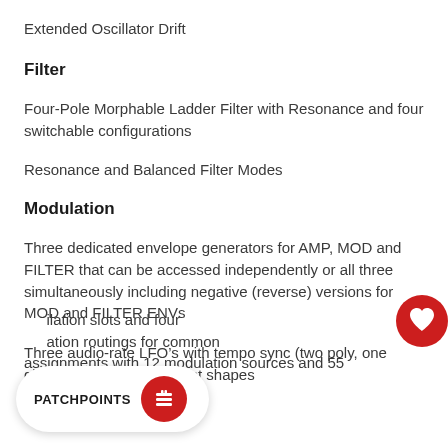Extended Oscillator Drift
Filter
Four-Pole Morphable Ladder Filter with Resonance and four switchable configurations
Resonance and Balanced Filter Modes
Modulation
Three dedicated envelope generators for AMP, MOD and FILTER that can be accessed independently or all three simultaneously including negative (reverse) versions for MOD and FILTER ENVs
Three audio-rate LFO’s with tempo sync (two poly, one global) with seven different shapes
...ilation slots and four ...ation routings for common assignments with 12 modulation sources and 55